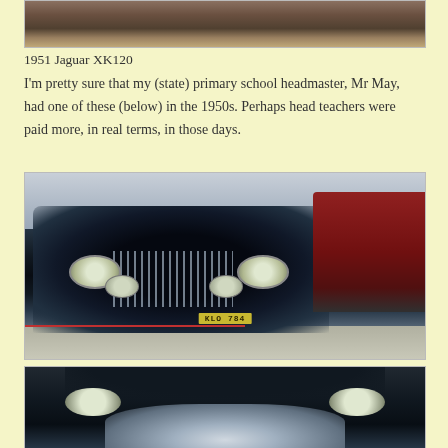[Figure (photo): Partial view of a classic car (cropped top), showing seats or interior at the top of the page]
1951 Jaguar XK120
I'm pretty sure that my (state) primary school headmaster, Mr May, had one of these (below) in the 1950s. Perhaps head teachers were paid more, in real terms, in those days.
[Figure (photo): Front view of a vintage black Jaguar classic car (license plate KLO 784) displayed in a museum, with a red modern car visible in the background]
[Figure (photo): Close-up partial view of the front grille and headlights of a vintage black classic car, cropped at the bottom of the page]